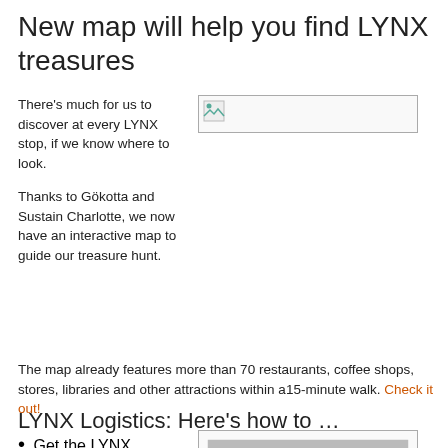New map will help you find LYNX treasures
There’s much for us to discover at every LYNX stop, if we know where to look.
[Figure (photo): Placeholder image (broken image icon)]
Thanks to Gökotta and Sustain Charlotte, we now have an interactive map to guide our treasure hunt.
The map already features more than 70 restaurants, coffee shops, stores, libraries and other attractions within a15-minute walk. Check it out!
LYNX Logistics: Here’s how to …
Get the LYNX
[Figure (photo): Placeholder image (broken image icon)]